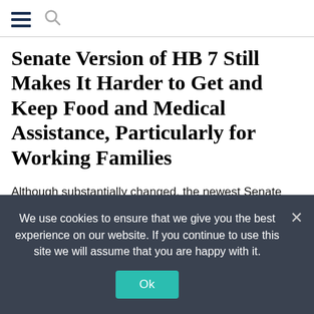[hamburger menu icon] [search icon]
Senate Version of HB 7 Still Makes It Harder to Get and Keep Food and Medical Assistance, Particularly for Working Families
Although substantially changed, the newest Senate version of House Bill 7 (HB 7) still puts up numerous paperwork barriers to food and medical assistance for Kentucky families and workers. HB...
We use cookies to ensure that we give you the best experience on our website. If you continue to use this site we will assume that you are happy with it.
Ok